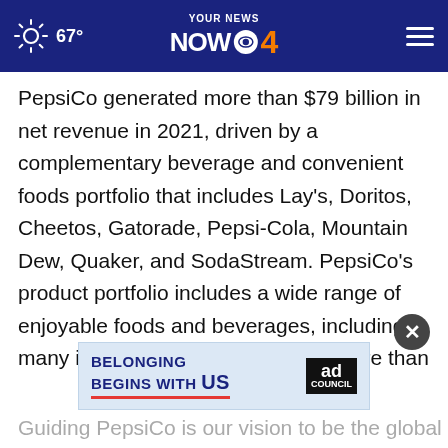67° YOUR NEWS NOW CBS 4
PepsiCo generated more than $79 billion in net revenue in 2021, driven by a complementary beverage and convenient foods portfolio that includes Lay's, Doritos, Cheetos, Gatorade, Pepsi-Cola, Mountain Dew, Quaker, and SodaStream. PepsiCo's product portfolio includes a wide range of enjoyable foods and beverages, including many iconic brands that generate more than $1 billion each in estimated annual retail sales.
[Figure (screenshot): Advertisement banner: BELONGING BEGINS WITH US, with Ad Council logo]
Guiding PepsiCo is our vision to be the global